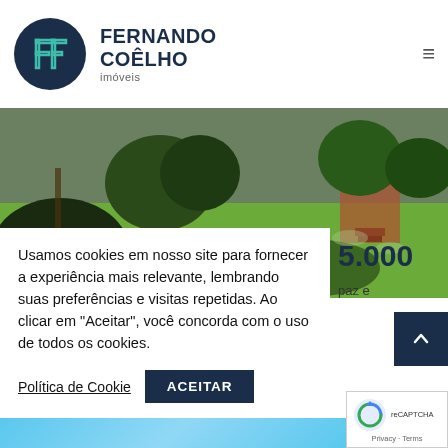FERNANDO COÊLHO imóveis
[Figure (photo): Outdoor garden/yard photo showing green lawn, trees, and shrubs with a building partially visible in background]
Usamos cookies em nosso site para fornecer a experiência mais relevante, lembrando suas preferências e visitas repetidas. Ao clicar em "Aceitar", você concorda com o uso de todos os cookies.
5.000
paz e
Política de Cookie
ACEITAR